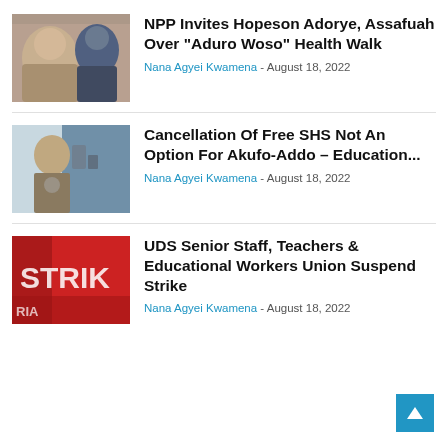[Figure (photo): Thumbnail photo for NPP Invites Hopeson Adorye article]
NPP Invites Hopeson Adorye, Assafuah Over “Aduro Woso” Health Walk
Nana Agyei Kwamena - August 18, 2022
[Figure (photo): Thumbnail photo for Cancellation Of Free SHS article]
Cancellation Of Free SHS Not An Option For Akufo-Addo – Education...
Nana Agyei Kwamena - August 18, 2022
[Figure (photo): Thumbnail photo showing STRIK protest sign for UDS Senior Staff article]
UDS Senior Staff, Teachers & Educational Workers Union Suspend Strike
Nana Agyei Kwamena - August 18, 2022